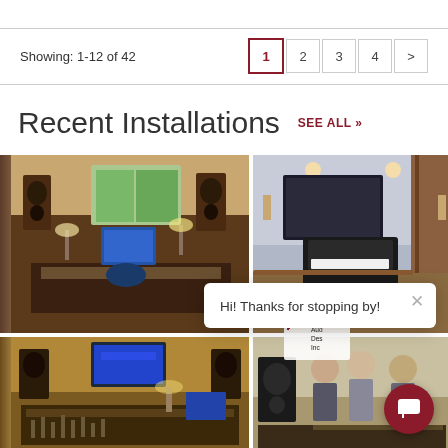Showing: 1-12 of 42
1 2 3 4 >
Recent Installations
SEE ALL »
[Figure (photo): Recording studio with speakers, mixing console, and windows looking into forest]
[Figure (photo): Room with grand piano and large display screen]
[Figure (photo): Recording studio with mixing board, monitors and screens]
[Figure (photo): Three men standing with audio equipment]
Hi! Thanks for stopping by!